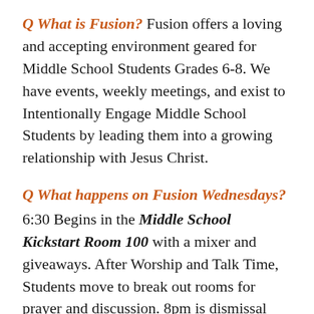Q What is Fusion? Fusion offers a loving and accepting environment geared for Middle School Students Grades 6-8. We have events, weekly meetings, and exist to Intentionally Engage Middle School Students by leading them into a growing relationship with Jesus Christ.
Q What happens on Fusion Wednesdays? 6:30 Begins in the Middle School Kickstart Room 100 with a mixer and giveaways. After Worship and Talk Time, Students move to break out rooms for prayer and discussion. 8pm is dismissal time